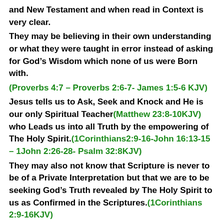and New Testament and when read in Context is very clear.
They may be believing in their own understanding or what they were taught in error instead of asking for God’s Wisdom which none of us were Born with. (Proverbs 4:7 – Proverbs 2:6-7- James 1:5-6 KJV)
Jesus tells us to Ask, Seek and Knock and He is our only Spiritual Teacher(Matthew 23:8-10KJV) who Leads us into all Truth by the empowering of The Holy Spirit.(1Corinthians2:9-16-John 16:13-15 – 1John 2:26-28- Psalm 32:8KJV)
They may also not know that Scripture is never to be of a Private Interpretation but that we are to be seeking God’s Truth revealed by The Holy Spirit to us as Confirmed in the Scriptures.(1Corinthians 2:9-16KJV)